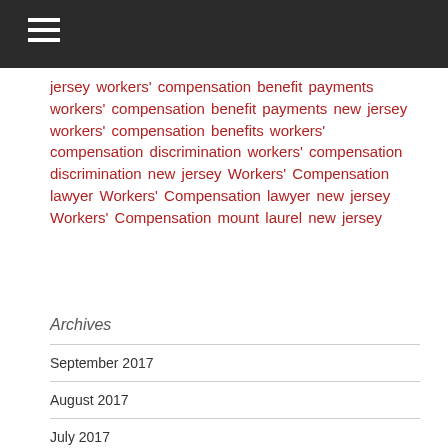Navigation menu header bar
jersey workers' compensation benefit payments workers' compensation benefit payments new jersey workers' compensation benefits workers' compensation discrimination workers' compensation discrimination new jersey Workers' Compensation lawyer Workers' Compensation lawyer new jersey Workers' Compensation mount laurel new jersey
Archives
September 2017
August 2017
July 2017
June 2017